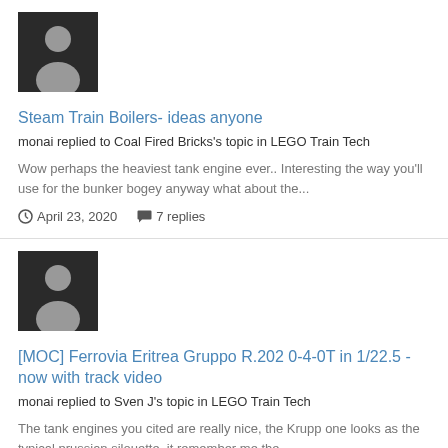[Figure (illustration): User avatar silhouette icon on dark background]
Steam Train Boilers- ideas anyone
monai replied to Coal Fired Bricks's topic in LEGO Train Tech
Wow perhaps the heaviest tank engine ever.. Interesting the way you'll use for the bunker bogey anyway what about the...
April 23, 2020   7 replies
[Figure (illustration): User avatar silhouette icon on dark background]
[MOC] Ferrovia Eritrea Gruppo R.202 0-4-0T in 1/22.5 - now with track video
monai replied to Sven J's topic in LEGO Train Tech
The tank engines you cited are really nice, the Krupp one looks as the typical prussian silouette, it remember me the...
April 11, 2020   49 replies